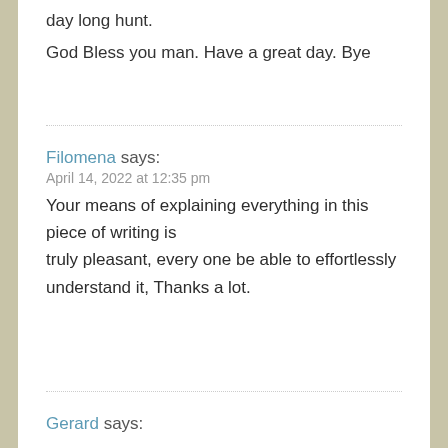day long hunt.
God Bless you man. Have a great day. Bye
Filomena says:
April 14, 2022 at 12:35 pm
Your means of explaining everything in this piece of writing is truly pleasant, every one be able to effortlessly understand it, Thanks a lot.
Gerard says: